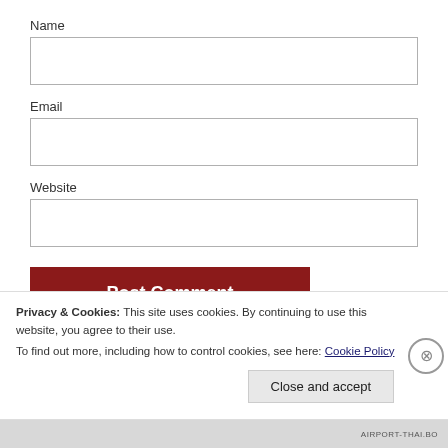Name
[Figure (screenshot): Empty text input field for Name]
Email
[Figure (screenshot): Empty text input field for Email]
Website
[Figure (screenshot): Empty text input field for Website]
[Figure (screenshot): Post Comment button in dark red]
Privacy & Cookies: This site uses cookies. By continuing to use this website, you agree to their use.
To find out more, including how to control cookies, see here: Cookie Policy
Close and accept
AIRPORT-THAI.BO